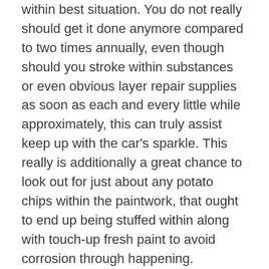within best situation. You do not really should get it done anymore compared to two times annually, even though should you stroke within substances or even obvious layer repair supplies as soon as each and every little while approximately, this can truly assist keep up with the car's sparkle. This really is additionally a great chance to look out for just about any potato chips within the paintwork, that ought to end up being stuffed within along with touch-up fresh paint to avoid corrosion through happening.
Lastly, remember the significance associated with keeping track of the actual motor area because this involves upkeep, as well. Ensure that you keep your electric elements below include as well as frequently make use of a great motor degreaser. Depart this for some time therefore it soaks to the grime prior to spraying this away having a hose pipe. Frequently stroke a good emollient for example Vaseline in to rubberized tubes to maintain all of them through becoming dry